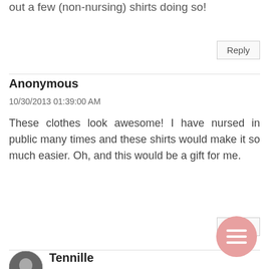out a few (non-nursing) shirts doing so!
Reply
Anonymous
10/30/2013 01:39:00 AM
These clothes look awesome! I have nursed in public many times and these shirts would make it so much easier. Oh, and this would be a gift for me.
Reply
Tennille
10/30/2013 02:18:00 AM
LOVE the bright pop of colour and to be pretty and a nursing mama-awesome!